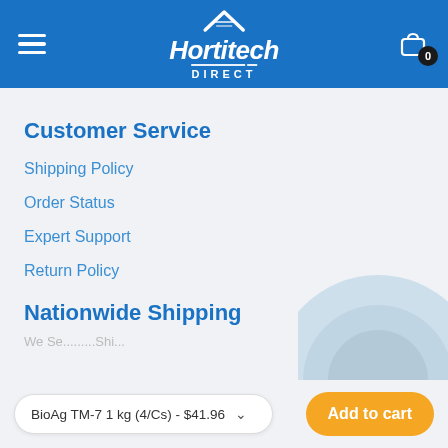Hortitech DIRECT
Customer Service
Shipping Policy
Order Status
Expert Support
Return Policy
Nationwide Shipping
[Figure (illustration): Semicircular shipping/delivery icon in light blue]
BioAg TM-7 1 kg (4/Cs) - $41.96
Add to cart